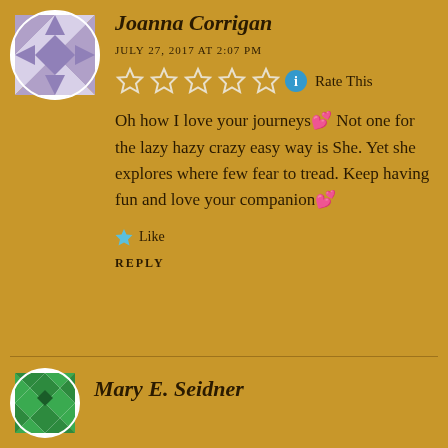[Figure (illustration): Circular avatar with geometric quilt pattern in purple and grey triangles]
Joanna Corrigan
JULY 27, 2017 AT 2:07 PM
[Figure (other): Five hollow stars rating widget with blue info circle and Rate This text]
Oh how I love your journeys💕 Not one for the lazy hazy crazy easy way is She. Yet she explores where few fear to tread. Keep having fun and love your companion💕
Like
REPLY
[Figure (illustration): Circular avatar with green geometric quilt pattern]
Mary E. Seidner